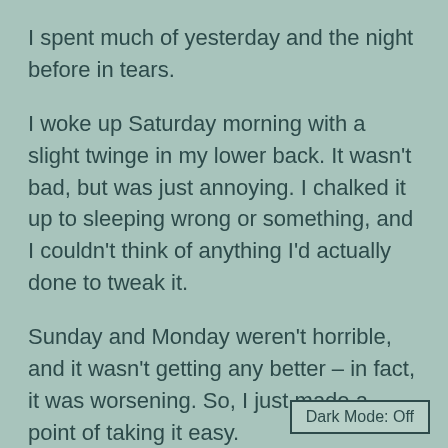I spent much of yesterday and the night before in tears.
I woke up Saturday morning with a slight twinge in my lower back. It wasn't bad, but was just annoying. I chalked it up to sleeping wrong or something, and I couldn't think of anything I'd actually done to tweak it.
Sunday and Monday weren't horrible, and it wasn't getting any better – in fact, it was worsening. So, I just made a point of taking it easy.
Dark Mode: Off